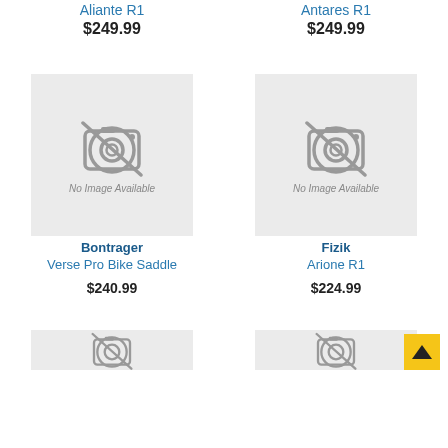Aliante R1
$249.99
Antares R1
$249.99
[Figure (photo): No Image Available placeholder for Bontrager Verse Pro Bike Saddle]
Bontrager
Verse Pro Bike Saddle
$240.99
[Figure (photo): No Image Available placeholder for Fizik Arione R1]
Fizik
Arione R1
$224.99
[Figure (photo): Partial No Image Available placeholder (bottom of page, left)]
[Figure (photo): Partial No Image Available placeholder (bottom of page, right)]